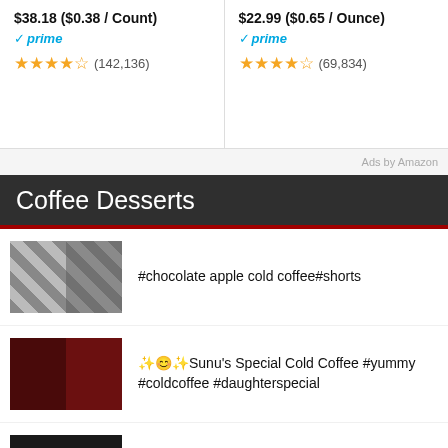$38.18 ($0.38 / Count)
$22.99 ($0.65 / Ounce)
prime (142,136)
prime (69,834)
Ads by Amazon
Coffee Desserts
#chocolate apple cold coffee#shorts
✨😊✨ Sunu's Special Cold Coffee #yummy #coldcoffee #daughterspecial
❤️😊 Chocolate Melted & coffee #shorts